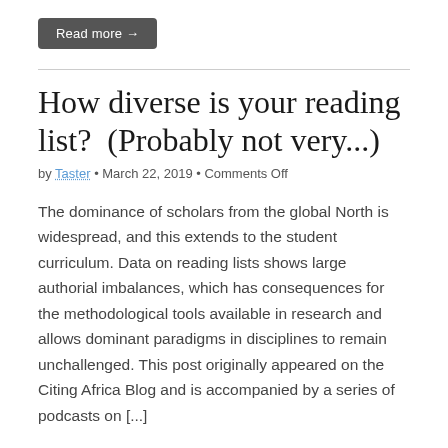Read more →
How diverse is your reading list?  (Probably not very...)
by Taster • March 22, 2019 • Comments Off
The dominance of scholars from the global North is widespread, and this extends to the student curriculum. Data on reading lists shows large authorial imbalances, which has consequences for the methodological tools available in research and allows dominant paradigms in disciplines to remain unchallenged. This post originally appeared on the Citing Africa Blog and is accompanied by a series of podcasts on [...]
Read more →